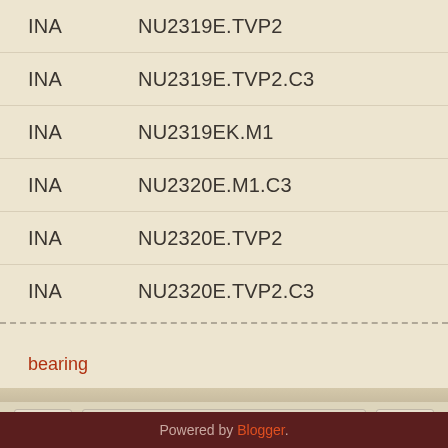INA    NU2319E.TVP2
INA    NU2319E.TVP2.C3
INA    NU2319EK.M1
INA    NU2320E.M1.C3
INA    NU2320E.TVP2
INA    NU2320E.TVP2.C3
bearing
Home
View web version
Powered by Blogger.